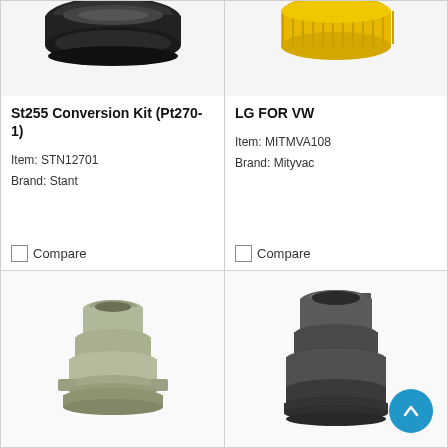[Figure (photo): St255 Conversion Kit product image - black circular cap/ring component, partially cropped at top]
St255 Conversion Kit (Pt270-1)
Item: STN12701
Brand: Stant
Compare
[Figure (photo): LG FOR VW product image - yellow threaded oil cap/adapter, partially cropped at top]
LG FOR VW
Item: MITMVA108
Brand: Mityvac
Compare
[Figure (photo): Gray/olive colored plastic adapter fitting for coolant system]
[Figure (photo): Dark gray/black plastic radiator neck adapter fitting]